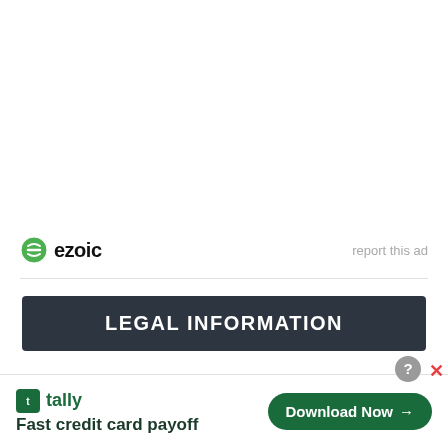[Figure (logo): Ezoic logo with green circular icon and bold 'ezoic' text, with 'report this ad' link on the right]
report this ad
LEGAL INFORMATION
This site is a participant in the Amazon Services LLC Associates Program, an affiliate advertising program…
[Figure (other): Tally app advertisement banner: 'Fast credit card payoff' with Download Now button]